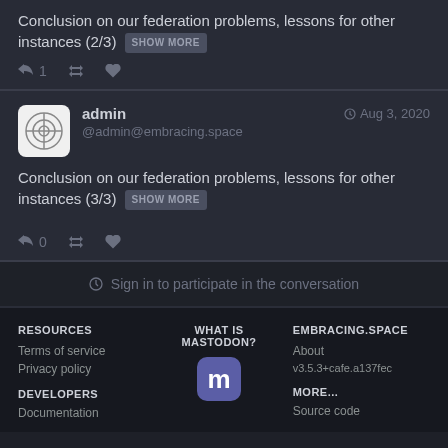Conclusion on our federation problems, lessons for other instances (2/3) SHOW MORE
↩ 1  🔁  ★
admin @admin@embracing.space Aug 3, 2020
Conclusion on our federation problems, lessons for other instances (3/3) SHOW MORE
↩ 0  🔁  ★
Sign in to participate in the conversation
RESOURCES
Terms of service
Privacy policy
WHAT IS MASTODON?
[Figure (logo): Mastodon logo - M letter in rounded square]
EMBRACING.SPACE
About
v3.5.3+cafe.a137fec
DEVELOPERS
MORE...
Documentation
Source code